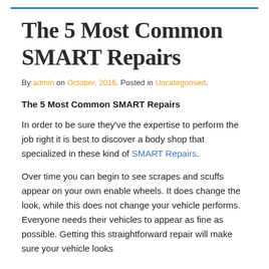The 5 Most Common SMART Repairs
By admin on October, 2016. Posted in Uncategorised.
The 5 Most Common SMART Repairs
In order to be sure they've the expertise to perform the job right it is best to discover a body shop that specialized in these kind of SMART Repairs.
Over time you can begin to see scrapes and scuffs appear on your own enable wheels. It does change the look, while this does not change your vehicle performs. Everyone needs their vehicles to appear as fine as possible. Getting this straightforward repair will make sure your vehicle looks